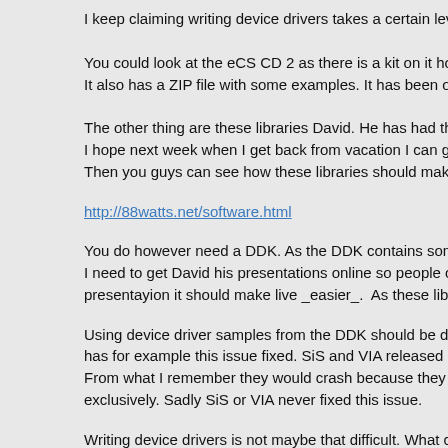I keep claiming writing device drivers takes a certain level of skillset. If you...
You could look at the eCS CD 2 as there is a kit on it how to write device dr...
It also has a ZIP file with some examples. It has been on eCS CD #2 since...
The other thing are these libraries David. He has had them around for some...
I hope next week when I get back from vacation I can get the presentations...
Then you guys can see how these libraries should make writing device driv...
http://88watts.net/software.html
You do however need a DDK. As the DDK contains some libraries and a lot...
I need to get David his presentations online so people can see what he said...
presentayion it should make live _easier_.  As these libraries provide a bas...
Using device driver samples from the DDK should be done with caution. I d...
has for example this issue fixed. SiS and VIA released OS/2 drivers for som...
From what I remember they would crash because they had some ISA code...
exclusively. Sadly SiS or VIA never fixed this issue.
Writing device drivers is not maybe that difficult. What can become difficult...
Tracing that can be a pretty time consuming job. I did plenty of does things...
hours to trace back (even with in my opinion very skilled develoeprs). It esp...
corrupts memory and you need trace back what corrupted the memory.  Fin...
job.
A lot of these problems can be prevented by commenting code properly and...